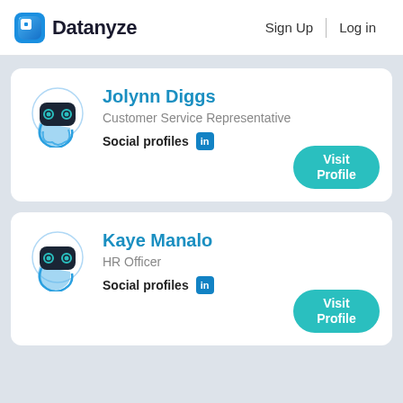Datanyze   Sign Up   Log in
Jolynn Diggs
Customer Service Representative
Social profiles [in]
Visit Profile
Kaye Manalo
HR Officer
Social profiles [in]
Visit Profile